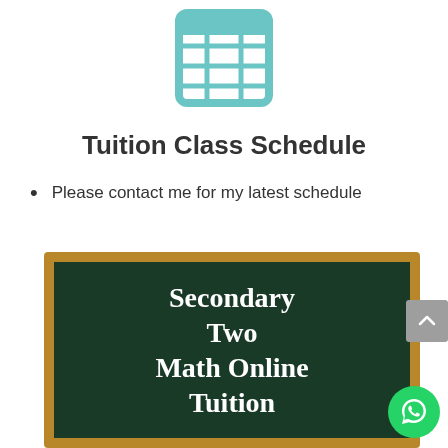[Figure (illustration): Teal/cyan colored table grid icon with 3x4 cells and rounded corners]
Tuition Class Schedule
Please contact me for my latest schedule
[Figure (photo): Chalkboard image with wooden brown frame and dark green board displaying text: Secondary Two Math Online Tuition]
[Figure (illustration): WhatsApp green circular button icon in bottom right corner]